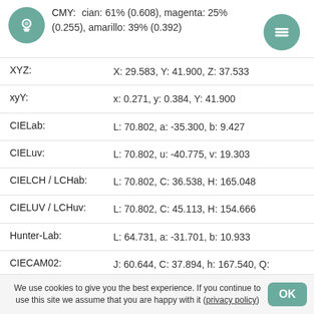| Property | Value |
| --- | --- |
| CMY: | cian: 61% (0.608), magenta: 25% (0.255), amarillo: 39% (0.392) |
| XYZ: | X: 29.583, Y: 41.900, Z: 37.533 |
| xyY: | x: 0.271, y: 0.384, Y: 41.900 |
| CIELab: | L: 70.802, a: -35.300, b: 9.427 |
| CIELuv: | L: 70.802, u: -40.775, v: 19.303 |
| CIELCH / LCHab: | L: 70.802, C: 36.538, H: 165.048 |
| CIELUV / LCHuv: | L: 70.802, C: 45.113, H: 154.666 |
| Hunter-Lab: | L: 64.731, a: -31.701, b: 10.933 |
| CIECAM02: | J: 60.644, C: 37.894, h: 167.540, Q: 153.428, M: 33.138, s: 46.474, H: 205.340 |
We use cookies to give you the best experience. If you continue to use this site we assume that you are happy with it (privacy policy)